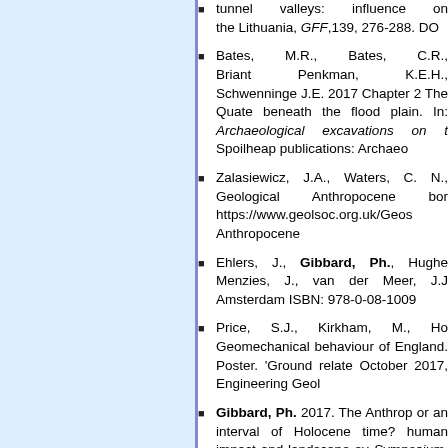tunnel valleys: influence on the Lithuania, GFF,139, 276-288. DO
Bates, M.R., Bates, C.R., Briant Penkman, K.E.H., Schwenninge J.E. 2017 Chapter 2 The Quat beneath the flood plain. In: Archaeological excavations on t Spoilheap publications: Archaeo
Zalasiewicz, J.A., Waters, C. N., Geological Anthropocene bor https://www.geolsoc.org.uk/Geos Anthropocene
Ehlers, J., Gibbard, Ph., Hughe Menzies, J., van der Meer, J.J Amsterdam ISBN: 978-0-08-1009
Price, S.J., Kirkham, M., Ho Geomechanical behaviour of England. Poster. 'Ground relate October 2017, Engineering Geol
Gibbard, Ph. 2017. The Anthrop or an interval of Holocene time? human impact and landscape ev Symposium, Scientific Technical